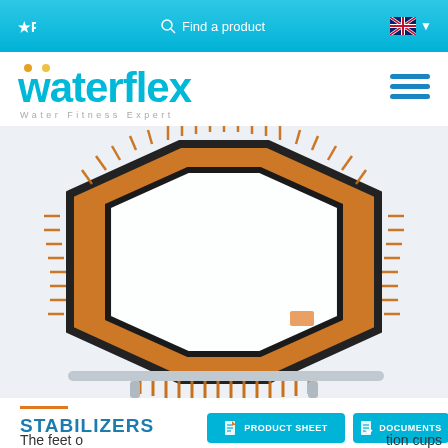★P   🔍 Find a product   🇬🇧 ▼
[Figure (logo): Waterflex logo with text 'waterflex' in cyan and tagline 'Water Fitness Expert' in grey]
[Figure (photo): Hexagonal aqua trampoline with orange elastic bands and silver metal frame legs, viewed from above at an angle, on a white/light grey background]
STABILIZERS
The feet o
tion cups
[Figure (other): PRODUCT SHEET button in cyan/teal color with document icon]
[Figure (other): DOCUMENTS button in cyan/teal color with document icon]